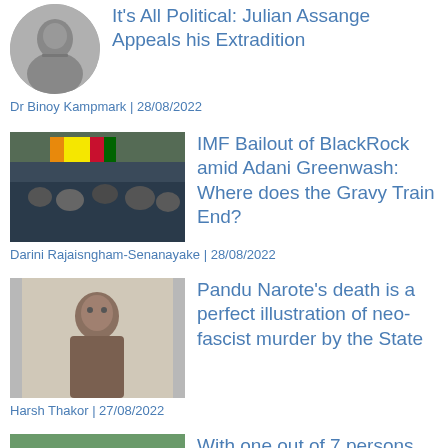[Figure (photo): Grayscale circular portrait photo of Julian Assange]
It's All Political: Julian Assange Appeals his Extradition
Dr Binoy Kampmark | 28/08/2022
[Figure (photo): Crowd scene with Sri Lanka flag]
IMF Bailout of BlackRock amid Adani Greenwash:  Where does the Gravy Train End?
Darini Rajaisngham-Senanayake | 28/08/2022
[Figure (photo): Portrait photo of Pandu Narote]
Pandu Narote's death is a perfect illustration of neo-fascist murder by the State
Harsh Thakor | 27/08/2022
[Figure (photo): Flood damage photo showing Pakistan floods]
With one out of 7 persons affected by floods, Pakistan declares emergency
Bharat Dogra | 27/08/2022